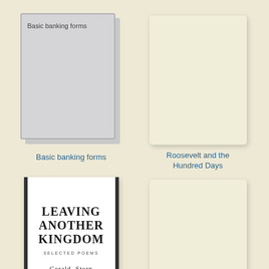[Figure (illustration): Book cover for 'Basic banking forms' — gray cover with inner border and title at top left]
Basic banking forms
[Figure (illustration): Book cover for 'Roosevelt and the Hundred Days' — cream/beige plain cover with rounded corners]
Roosevelt and the Hundred Days
[Figure (illustration): Book cover for 'Leaving Another Kingdom: Selected Poems' by Gerald Stern — white cover with thick black vertical stripes on left and right edges, text centered]
[Figure (illustration): Fourth book cover — cream/beige plain cover with rounded corners, no visible title]